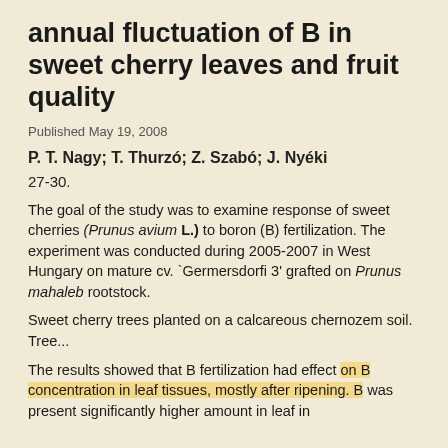annual fluctuation of B in sweet cherry leaves and fruit quality
Published May 19, 2008
P. T. Nagy;  T. Thurzó;  Z. Szabó;  J. Nyéki
27-30.
The goal of the study was to examine response of sweet cherries (Prunus avium L.) to boron (B) fertilization. The experiment was conducted during 2005-2007 in West Hungary on mature cv. `Germersdorfi 3' grafted on Prunus mahaleb rootstock.
Sweet cherry trees planted on a calcareous chernozem soil. Tree...
The results showed that B fertilization had effect on B concentration in leaf tissues, mostly after ripening. B was present significantly higher amount in leaf in